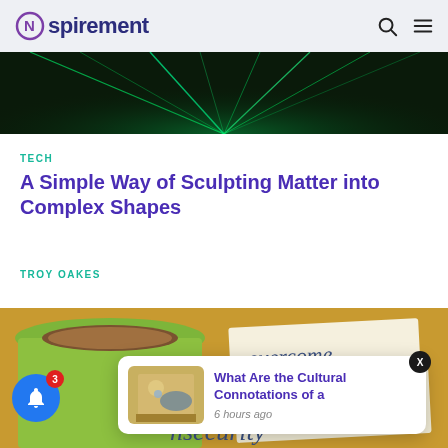Nspirement
[Figure (photo): Green laser light beams on dark background]
TECH
A Simple Way of Sculpting Matter into Complex Shapes
TROY OAKES
[Figure (photo): Green coffee mug with coffee and text cards reading 'overcome' and 'insecurity' on a golden background]
What Are the Cultural Connotations of a
6 hours ago